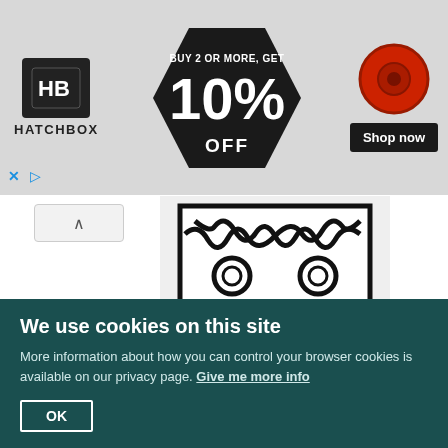[Figure (illustration): Hatchbox 3D filament advertisement banner. Buy 2 or more, get 10% off. Shows Hatchbox logo, hexagonal promo badge, red filament spool, and Shop now button.]
[Figure (illustration): Heraldic coat of arms shield for Leeke of Sandiacre. Argent a saltire engrailed sable with five rings or thereon. Black line art on light background showing shield shape with diagonal cross and five rings.]
Leeke of Sandiacre. Argent a saltire engrailed sable with five rings or thereon.
Alice settled the manor on her younger son Thomas Leeke, who was seised of
We use cookies on this site
More information about how you can control your browser cookies is available on our privacy page. Give me more info
OK